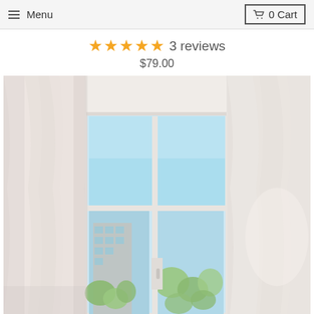≡ Menu   🛒 0 Cart
★★★★★ 3 reviews
$79.00
[Figure (photo): Interior room photo showing white sheer curtains draped beside a large white-framed window, with a blue sky and green trees visible outside. The room interior is bright with soft natural light.]